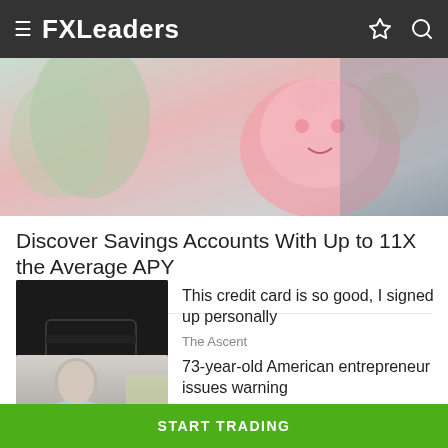FXLeaders
[Figure (photo): Cropped image showing a pink piggy bank being held, with blurred background]
Discover Savings Accounts With Up to 11X the Average APY
NerdWallet
[Figure (photo): Dark background showing a black credit card being held by a golden hand sculpture]
This credit card is so good, I signed up personally
The Ascent
[Figure (photo): Older American man, wearing a light blue shirt, looking to the side]
73-year-old American entrepreneur issues warning
Stansberry Research
START TRADING